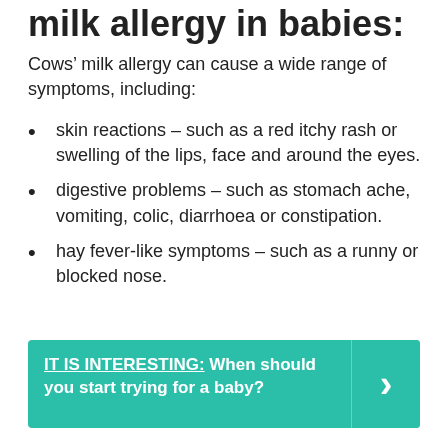milk allergy in babies:
Cows’ milk allergy can cause a wide range of symptoms, including:
skin reactions – such as a red itchy rash or swelling of the lips, face and around the eyes.
digestive problems – such as stomach ache, vomiting, colic, diarrhoea or constipation.
hay fever-like symptoms – such as a runny or blocked nose.
IT IS INTERESTING:  When should you start trying for a baby?